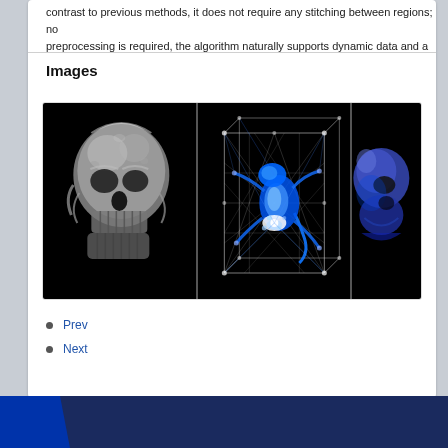contrast to previous methods, it does not require any stitching between regions; no preprocessing is required, the algorithm naturally supports dynamic data and a
Images
[Figure (photo): Gallery of three scientific visualization images: (1) a grayscale 3D rendered human skull on black background, (2) a white wireframe mesh/network diagram with blue highlighted regions on black background showing a 3D gecko or lizard shape, (3) a partial view of a blue-tinted 3D figure on black background.]
Prev
Next